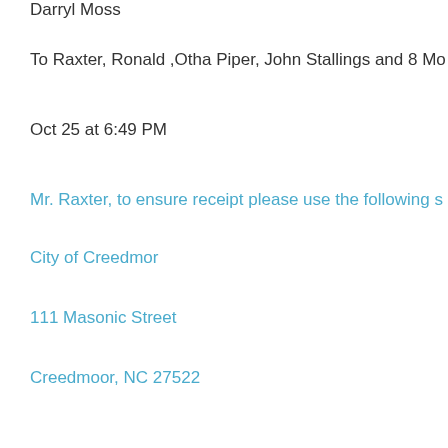Darryl Moss
To Raxter, Ronald ,Otha Piper, John Stallings and 8 Mo
Oct 25 at 6:49 PM
Mr. Raxter, to ensure receipt please use the following s
City of Creedmor
111 Masonic Street
Creedmoor, NC 27522
919-528-3332
Darryl D. Moss, Mayor